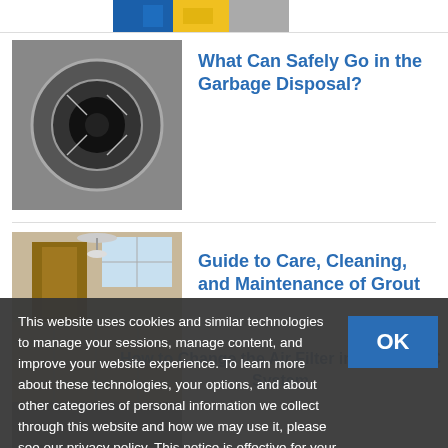[Figure (photo): Partial top strip showing a blue and yellow colored image (cropped)]
[Figure (photo): Close-up of a garbage disposal drain, metallic, circular]
What Can Safely Go in the Garbage Disposal?
[Figure (photo): Interior room with tiled floor, chandelier, wooden door, natural light]
Guide to Care, Cleaning, and Maintenance of Grout
How to Change the Air Filter in Your HVAC System
This website uses cookies and similar technologies to manage your sessions, manage content, and improve your website experience. To learn more about these technologies, your options, and about other categories of personal information we collect through this website and how we may use it, please see our privacy policy. This notice is effective for your use of this website for the next 14 days.